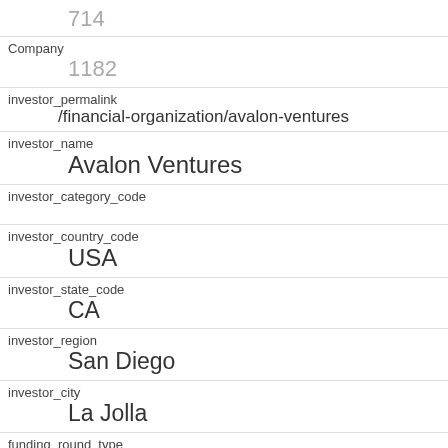714
Company
1182
investor_permalink
/financial-organization/avalon-ventures
investor_name
Avalon Ventures
investor_category_code
investor_country_code
USA
investor_state_code
CA
investor_region
San Diego
investor_city
La Jolla
funding_round_type
venture
funded_at